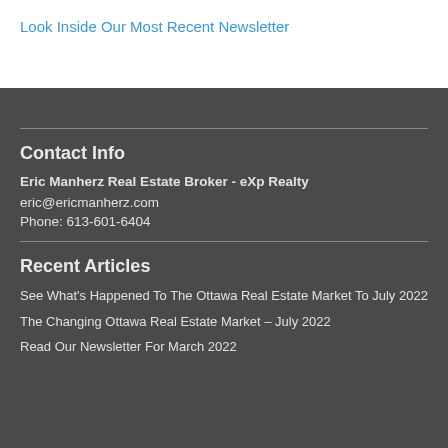Look Inside Our Most Recent Newsletter
Contact Info
Eric Manherz Real Estate Broker - eXp Realty
eric@ericmanherz.com
Phone: 613-601-6404
Recent Articles
See What's Happened To The Ottawa Real Estate Market To July 2022
The Changing Ottawa Real Estate Market – July 2022
Read Our Newsletter For March 2022